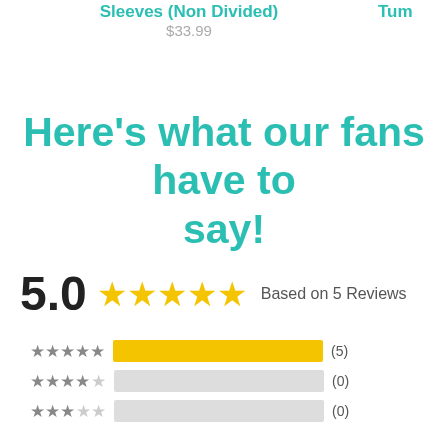Sleeves (Non Divided)
$33.99
Tum...
Here’s what our fans have to say!
5.0 ★★★★★ Based on 5 Reviews
[Figure (bar-chart): Star rating breakdown]